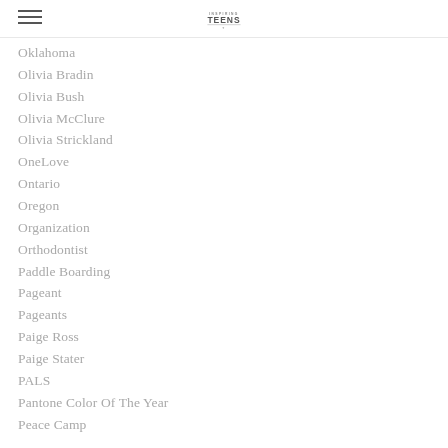Inspiring Teens [logo]
Oklahoma
Olivia Bradin
Olivia Bush
Olivia McClure
Olivia Strickland
OneLove
Ontario
Oregon
Organization
Orthodontist
Paddle Boarding
Pageant
Pageants
Paige Ross
Paige Stater
PALS
Pantone Color Of The Year
Peace Camp